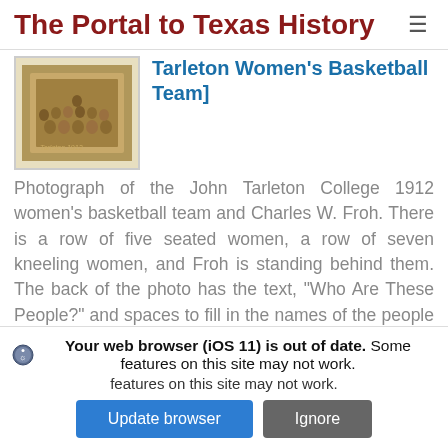The Portal to Texas History
[Tarleton Women's Basketball Team]
[Figure (photo): Thumbnail photograph of the John Tarleton College 1912 women's basketball team, sepia-toned group photo in a frame]
Photograph of the John Tarleton College 1912 women's basketball team and Charles W. Froh. There is a row of five seated women, a row of seven kneeling women, and Froh is standing behind them. The back of the photo has the text, "Who Are These People?" and spaces to fill in the names of the people pictured. "Charles W. Froh" is handwritten in the available space labeled "Back Row."
The Page header and...
Your web browser (iOS 11) is out of date. Some features on this site may not work.